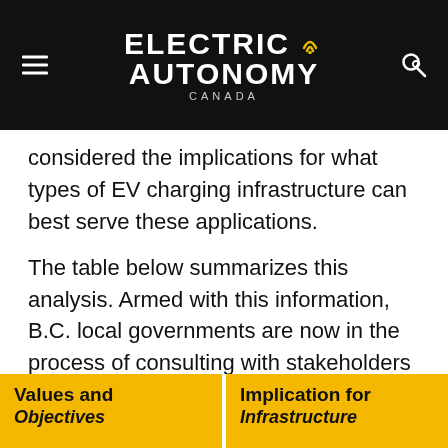ELECTRIC AUTONOMY CANADA
considered the implications for what types of EV charging infrastructure can best serve these applications.
The table below summarizes this analysis. Armed with this information, B.C. local governments are now in the process of consulting with stakeholders to introduce new requirements for EV-ready non-residential buildings in their parking requirements.
| Values and Objectives | Implication for Infrastructure |
| --- | --- |